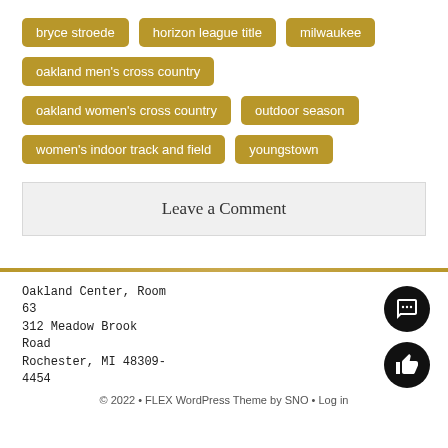bryce stroede
horizon league title
milwaukee
oakland men's cross country
oakland women's cross country
outdoor season
women's indoor track and field
youngstown
Leave a Comment
Oakland Center, Room 63
312 Meadow Brook Road
Rochester, MI 48309-4454

© 2022 • FLEX WordPress Theme by SNO • Log in